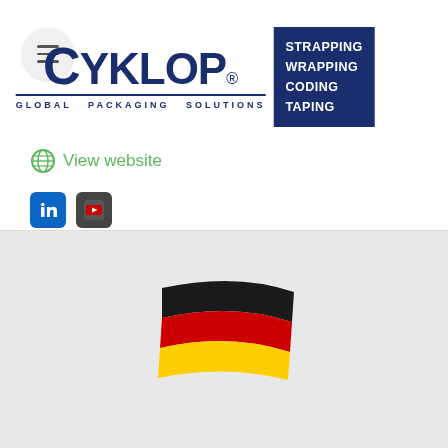[Figure (logo): Cyklop Global Packaging Solutions logo with tagline box: STRAPPING WRAPPING CODING TAPING]
View website
[Figure (illustration): LinkedIn and YouTube social media icon buttons]
[Figure (illustration): German flag emoji (waving flag with black, red, and gold/yellow horizontal stripes)]